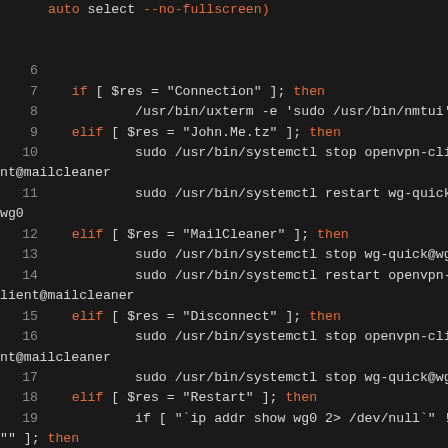[Figure (screenshot): Dark-themed terminal/code editor showing a shell script snippet with line numbers 6-21. The script contains elif/if conditionals checking $res variable against strings like 'Connection', 'John.Me.tz', 'MailCleaner', 'Disconnect', 'Restart' and executing systemctl stop/restart commands for openvpn-client@mailcleaner and wg-quick@wg0 services.]